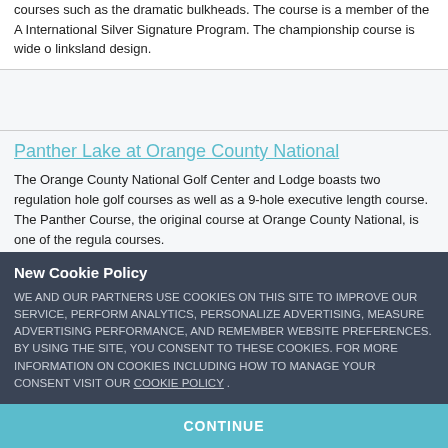courses such as the dramatic bulkheads. The course is a member of the A International Silver Signature Program. The championship course is wide o linksland design.
Panther Lake at Orange County National
The Orange County National Golf Center and Lodge boasts two regulation hole golf courses as well as a 9-hole executive length course. The Panther Course, the original course at Orange County National, is one of the regula courses.
New Cookie Policy
WE AND OUR PARTNERS USE COOKIES ON THIS SITE TO IMPROVE OUR SERVICE, PERFORM ANALYTICS, PERSONALIZE ADVERTISING, MEASURE ADVERTISING PERFORMANCE, AND REMEMBER WEBSITE PREFERENCES. BY USING THE SITE, YOU CONSENT TO THESE COOKIES. FOR MORE INFORMATION ON COOKIES INCLUDING HOW TO MANAGE YOUR CONSENT VISIT OUR COOKIE POLICY .
CONTINUE